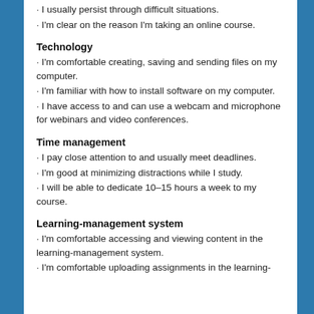I usually persist through difficult situations.
I'm clear on the reason I'm taking an online course.
Technology
I'm comfortable creating, saving and sending files on my computer.
I'm familiar with how to install software on my computer.
I have access to and can use a webcam and microphone for webinars and video conferences.
Time management
I pay close attention to and usually meet deadlines.
I'm good at minimizing distractions while I study.
I will be able to dedicate 10–15 hours a week to my course.
Learning-management system
I'm comfortable accessing and viewing content in the learning-management system.
I'm comfortable uploading assignments in the learning-management system.